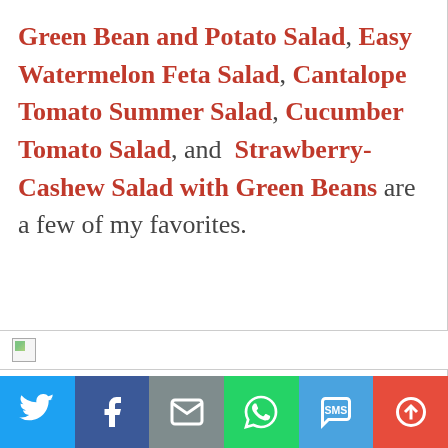Green Bean and Potato Salad, Easy Watermelon Feta Salad, Cantalope Tomato Summer Salad, Cucumber Tomato Salad, and Strawberry-Cashew Salad with Green Beans are a few of my favorites.
[Figure (other): Broken image placeholder icon in a white bar with border]
[Figure (other): Social share bar with Twitter, Facebook, Email, WhatsApp, SMS, and More buttons]